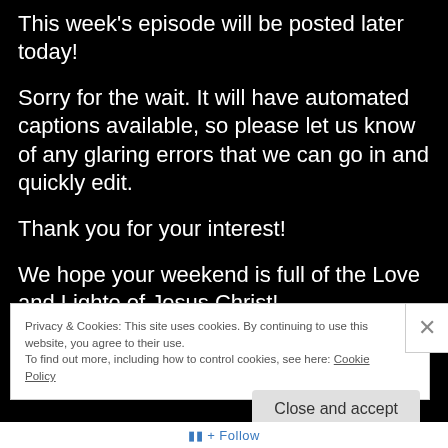This week's episode will be posted later today!
Sorry for the wait. It will have automated captions available, so please let us know of any glaring errors that we can go in and quickly edit.
Thank you for your interest!
We hope your weekend is full of the Love and Lighte of Jesus Christ!
Privacy & Cookies: This site uses cookies. By continuing to use this website, you agree to their use.
To find out more, including how to control cookies, see here: Cookie Policy
Close and accept
+ Follow